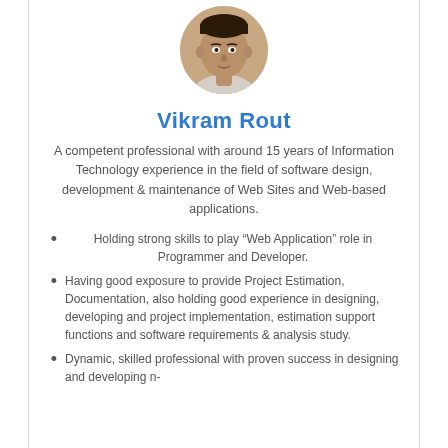[Figure (photo): Headshot photo of Vikram Rout, a man in a light-colored shirt, cropped to show head and upper shoulders, circular crop]
Vikram Rout
A competent professional with around 15 years of Information Technology experience in the field of software design, development & maintenance of Web Sites and Web-based applications.
Holding strong skills to play “Web Application” role in Programmer and Developer.
Having good exposure to provide Project Estimation, Documentation, also holding good experience in designing, developing and project implementation, estimation support functions and software requirements & analysis study.
Dynamic, skilled professional with proven success in designing and developing n-